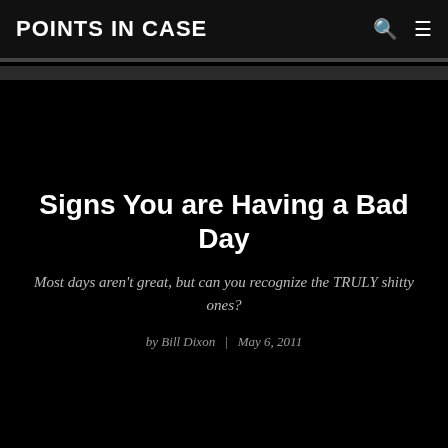POINTS IN CASE
Signs You are Having a Bad Day
Most days aren't great, but can you recognize the TRULY shitty ones?
by Bill Dixon | May 6, 2011